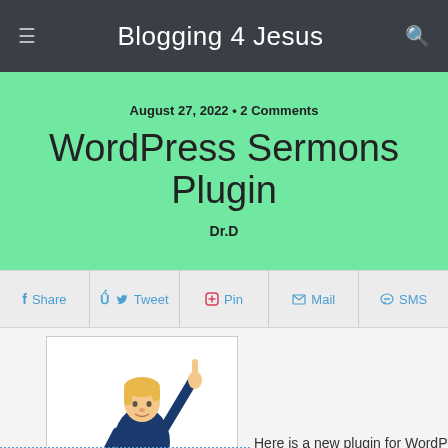≡  Blogging 4 Jesus  🔍
August 27, 2022 • 2 Comments
WordPress Sermons Plugin
Dr.D
f Share  🐦 Tweet  📌 Pin  ✉ Mail  💬 SMS
[Figure (illustration): Cartoon illustration of a preacher at a pulpit with a cross, pointing upward with one finger.]
Here is a new plugin for WordPress found on